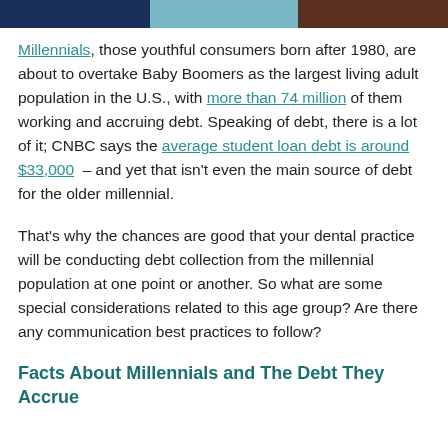[Figure (photo): Horizontal strip of three cropped photos at the top of the page: left segment dark navy blue, center segment light teal/blue with partial image, right segment dark brown.]
Millennials, those youthful consumers born after 1980, are about to overtake Baby Boomers as the largest living adult population in the U.S., with more than 74 million of them working and accruing debt. Speaking of debt, there is a lot of it; CNBC says the average student loan debt is around $33,000 – and yet that isn't even the main source of debt for the older millennial.
That's why the chances are good that your dental practice will be conducting debt collection from the millennial population at one point or another. So what are some special considerations related to this age group? Are there any communication best practices to follow?
Facts About Millennials and The Debt They Accrue